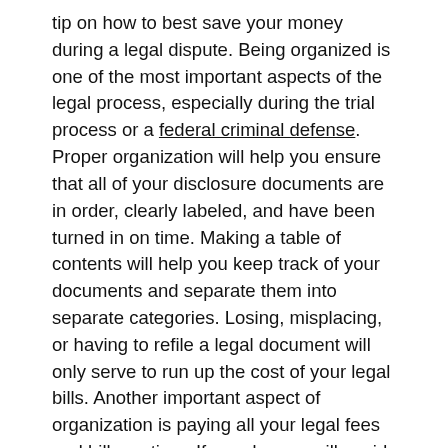tip on how to best save your money during a legal dispute. Being organized is one of the most important aspects of the legal process, especially during the trial process or a federal criminal defense. Proper organization will help you ensure that all of your disclosure documents are in order, clearly labeled, and have been turned in on time. Making a table of contents will help you keep track of your documents and separate them into separate categories. Losing, misplacing, or having to refile a legal document will only serve to run up the cost of your legal bills. Another important aspect of organization is paying all your legal fees and bills on time. If you do, you will avoid any late or interest fees.
Making A List For Custody Issues
Another step you can take to help you save money during a divorce is preparing a detailed list for issues